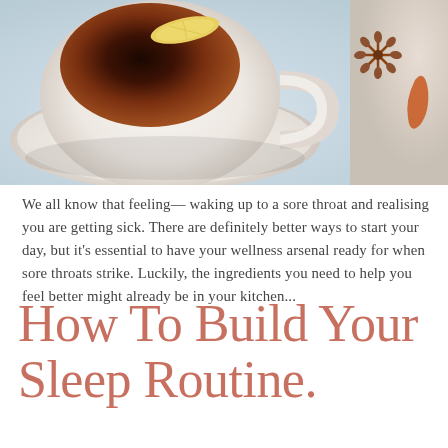[Figure (photo): Overhead photo of a cup of dark tea with a lemon slice on a white saucer, with star anise and a cinnamon stick or orange peel on a marble surface]
We all know that feeling— waking up to a sore throat and realising you are getting sick. There are definitely better ways to start your day, but it's essential to have your wellness arsenal ready for when sore throats strike. Luckily, the ingredients you need to help you feel better might already be in your kitchen...
How To Build Your Sleep Routine.